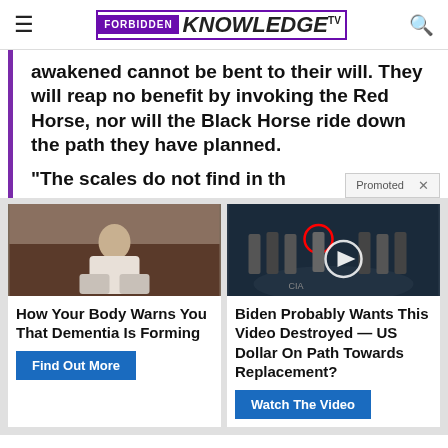FORBIDDEN KNOWLEDGE TV
awakened cannot be bent to their will. They will reap no benefit by invoking the Red Horse, nor will the Black Horse ride down the path they have planned.
“The scales do not find in th
Promoted X
[Figure (photo): Person sitting on bed in white outfit]
How Your Body Warns You That Dementia Is Forming
Find Out More
[Figure (photo): Group of men in suits at official-looking venue with CIA logo on floor, video play button overlay, red circle around one person]
Biden Probably Wants This Video Destroyed — US Dollar On Path Towards Replacement?
Watch The Video